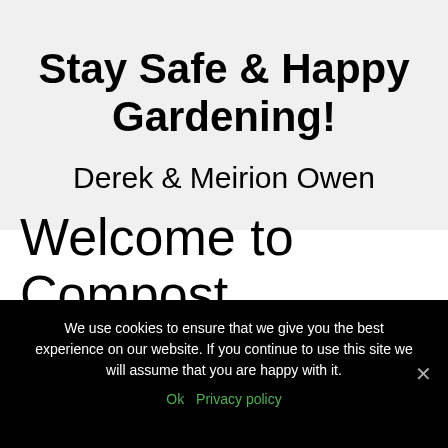Stay Safe & Happy Gardening!
Derek & Meirion Owen
Welcome to Compost Technology
We use cookies to ensure that we give you the best experience on our website. If you continue to use this site we will assume that you are happy with it. Ok  Privacy policy